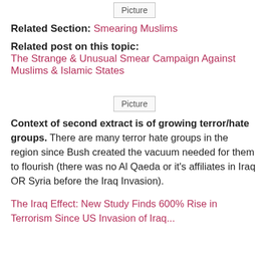[Figure (other): Broken image placeholder labeled 'Picture']
Related Section: Smearing Muslims
Related post on this topic:
The Strange & Unusual Smear Campaign Against Muslims & Islamic States
[Figure (other): Broken image placeholder labeled 'Picture']
Context of second extract is of growing terror/hate groups. There are many terror hate groups in the region since Bush created the vacuum needed for them to flourish (there was no Al Qaeda or it's affiliates in Iraq OR Syria before the Iraq Invasion).
The Iraq Effect: New Study Finds 600% Rise in Terrorism Since US Invasion of Iraq...